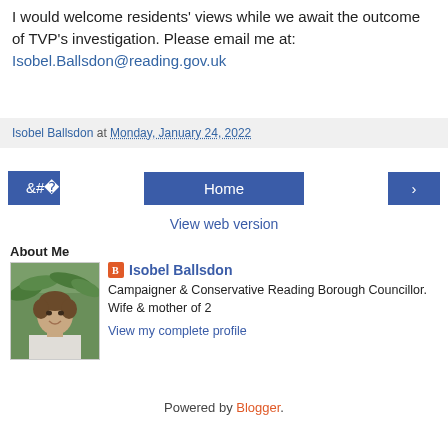I would welcome residents' views while we await the outcome of TVP's investigation. Please email me at: Isobel.Ballsdon@reading.gov.uk
Isobel Ballsdon at Monday, January 24, 2022
‹  Home  ›
View web version
About Me
[Figure (photo): Profile photo of Isobel Ballsdon, a woman smiling in front of palm trees, wearing a white top]
Isobel Ballsdon
Campaigner & Conservative Reading Borough Councillor. Wife & mother of 2
View my complete profile
Powered by Blogger.